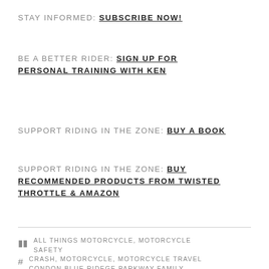STAY INFORMED: SUBSCRIBE NOW!
BE A BETTER RIDER: SIGN UP FOR PERSONAL TRAINING WITH KEN
SUPPORT RIDING IN THE ZONE: BUY A BOOK
SUPPORT RIDING IN THE ZONE: BUY RECOMMENDED PRODUCTS FROM TWISTED THROTTLE & AMAZON
ALL THINGS MOTORCYCLE, MOTORCYCLE SAFETY
CRASH, MOTORCYCLE, MOTORCYCLE TRAVEL CONDON BLUE RIDEGE PARKWAY FAMILY